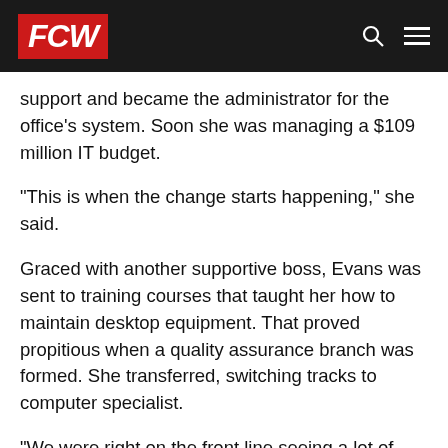FCW
support and became the administrator for the office's system. Soon she was managing a $109 million IT budget.
"This is when the change starts happening," she said.
Graced with another supportive boss, Evans was sent to training courses that taught her how to maintain desktop equipment. That proved propitious when a quality assurance branch was formed. She transferred, switching tracks to computer specialist.
"We were right on the front line seeing a lot of what became issues for change management," she said.
By the time Evans left the USDA, she was deputy director for the agency's applications management division, a position that encompassed such areas as telecommunications support and that allowed her to showcase the benefits of Web-based programs.